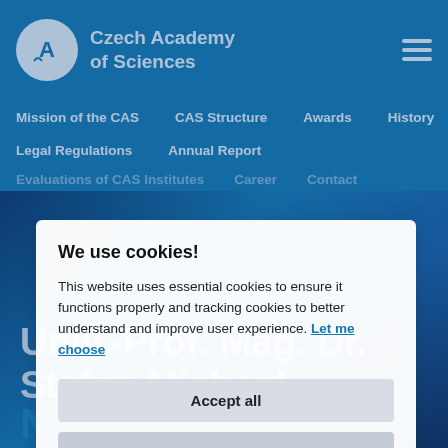Czech Academy of Sciences
Mission of the CAS   CAS Structure   Awards   History
Legal Regulations   Annual Report
Evaluations of CAS Institutes   Career   Contact
We use cookies!
This website uses essential cookies to ensure it functions properly and tracking cookies to better understand and improve user experience. Let me choose
Accept all
Reject all
Univ.-Prof. Mag. Dr. Stefan Michael Newerkle